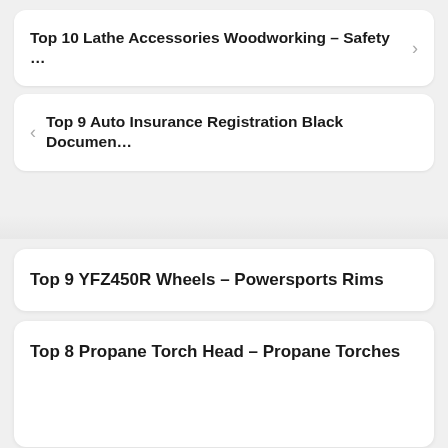Top 10 Lathe Accessories Woodworking – Safety …
Top 9 Auto Insurance Registration Black Documen…
Top 9 YFZ450R Wheels – Powersports Rims
Top 8 Propane Torch Head – Propane Torches
As an Amazon Associate I earn from qualifying purchases. This website uses the only necessary cookies to ensure you get the best experience on our website. More information
Top 10 Lancer EVO 9 Fender – Automotive Side